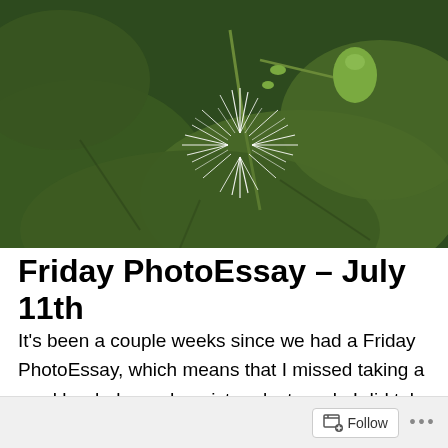[Figure (photo): Close-up photograph of a white fringed flower blossom with thin wispy white petals/filaments against large dark green leaves, with a green bud visible to the right]
Friday PhotoEssay – July 11th
It's been a couple weeks since we had a Friday PhotoEssay, which means that I missed taking a weekly whole garden picture last week. I did take one on Monday and again today, but the big change that happened was